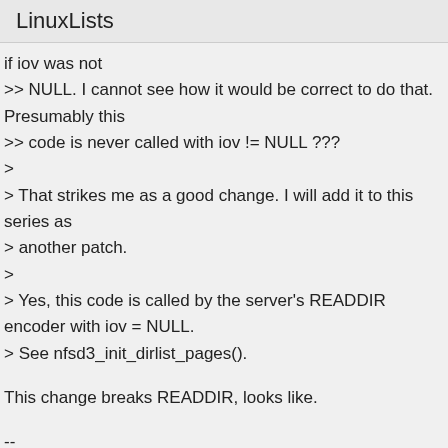LinuxLists
if iov was not
>> NULL. I cannot see how it would be correct to do that. Presumably this
>> code is never called with iov != NULL ???
>
> That strikes me as a good change. I will add it to this series as
> another patch.
>
> Yes, this code is called by the server's READDIR encoder with iov = NULL.
> See nfsd3_init_dirlist_pages().
This change breaks READDIR, looks like.
--
Chuck Lever